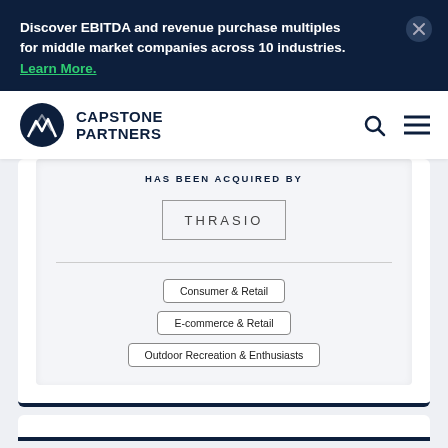Discover EBITDA and revenue purchase multiples for middle market companies across 10 industries. Learn More.
[Figure (logo): Capstone Partners logo with mountain icon and company name]
HAS BEEN ACQUIRED BY
[Figure (logo): Thrasio logo in a rectangular border]
Consumer & Retail
E-commerce & Retail
Outdoor Recreation & Enthusiasts